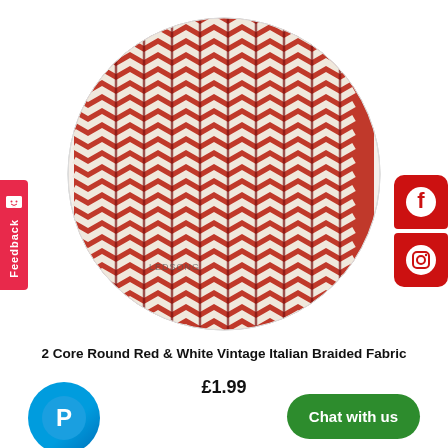[Figure (photo): Circular product photo of red and white chevron/zigzag patterned braided fabric cable]
2 Core Round Red & White Vintage Italian Braided Fabric
£1.99
[Figure (logo): PayPal circular blue logo button]
[Figure (logo): Green Chat with us button]
[Figure (infographic): Feedback tab on left side]
[Figure (logo): Facebook and Instagram red social media icons on right side]